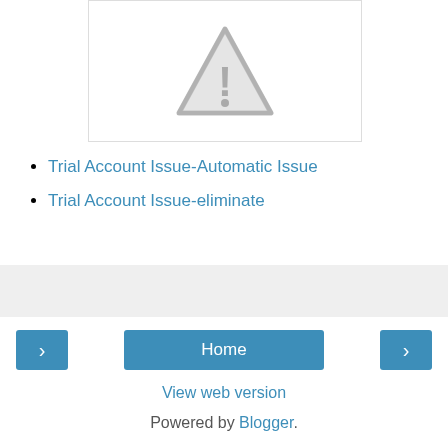[Figure (illustration): Warning triangle icon with exclamation mark, gray colored, inside a white bordered box]
Trial Account Issue-Automatic Issue
Trial Account Issue-eliminate
(gray bar / advertisement placeholder)
Home (navigation button)
View web version
Powered by Blogger.